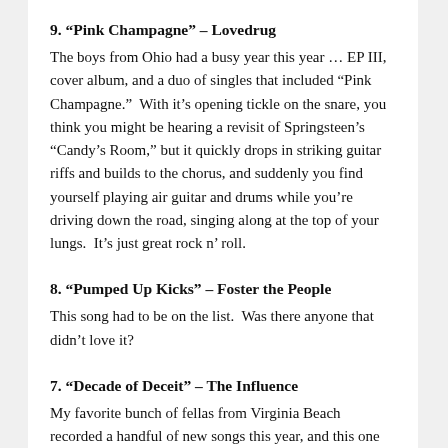9. “Pink Champagne” – Lovedrug
The boys from Ohio had a busy year this year … EP III, cover album, and a duo of singles that included “Pink Champagne.”  With it’s opening tickle on the snare, you think you might be hearing a revisit of Springsteen’s “Candy’s Room,” but it quickly drops in striking guitar riffs and builds to the chorus, and suddenly you find yourself playing air guitar and drums while you’re driving down the road, singing along at the top of your lungs.  It’s just great rock n’ roll.
8. “Pumped Up Kicks” – Foster the People
This song had to be on the list.  Was there anyone that didn’t love it?
7. “Decade of Deceit” – The Influence
My favorite bunch of fellas from Virginia Beach recorded a handful of new songs this year, and this one quickly rose to the top of all the music I listened to this year.  It is cut straight through with the hard questioning of our society that I’ve come to expect from these boys.  Matt never lets